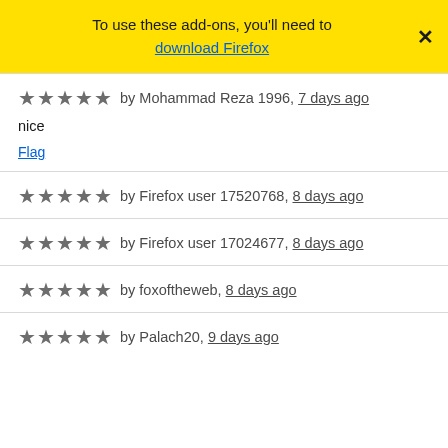To use these add-ons, you'll need to download Firefox
★★★★★ by Mohammad Reza 1996, 7 days ago
nice
Flag
★★★★★ by Firefox user 17520768, 8 days ago
★★★★★ by Firefox user 17024677, 8 days ago
★★★★★ by foxoftheweb, 8 days ago
★★★★★ by Palach20, 9 days ago